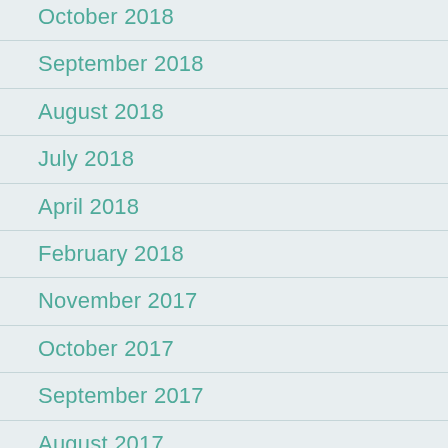October 2018
September 2018
August 2018
July 2018
April 2018
February 2018
November 2017
October 2017
September 2017
August 2017
July 2017